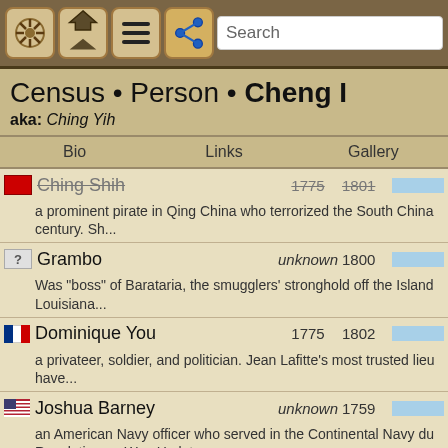Search
Census • Person • Cheng I
aka: Ching Yih
Bio | Links | Gallery
Ching Shih 1775 1801 — a prominent pirate in Qing China who terrorized the South China century. Sh...
Grambo unknown 1800 — Was "boss" of Barataria, the smugglers' stronghold off the Island Louisiana...
Dominique You 1775 1802 — a privateer, soldier, and politician. Jean Lafitte's most trusted lieu have...
Joshua Barney unknown 1759 — an American Navy officer who served in the Continental Navy du Revolutionary War. He late...
Hezekiah Frith 1763 1790 — an 18th-century British ship owner with the reputation of a "gent
[Figure (screenshot): Mobile app toolbar with navigation icons: ship wheel, home/up, hamburger menu, share button, and search bar]